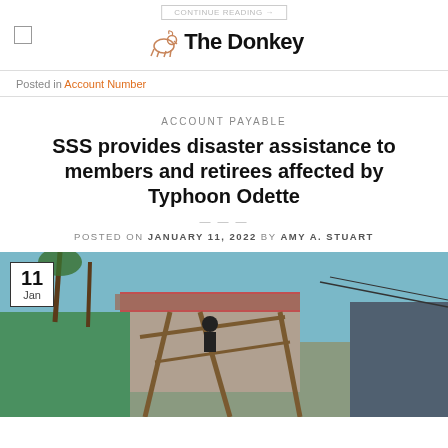CONTINUE READING → The Donkey
Posted in Account Number
ACCOUNT PAYABLE
SSS provides disaster assistance to members and retirees affected by Typhoon Odette
POSTED ON JANUARY 11, 2022 BY AMY A. STUART
[Figure (photo): Person working on rebuilding a damaged structure after Typhoon Odette, with wood framework visible. A date badge shows 11 Jan in the upper left corner.]